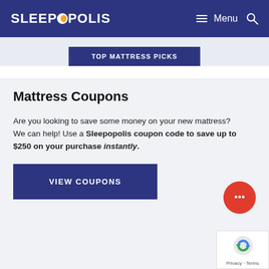SLEEPOPOLIS — Menu (hamburger icon) Search (magnifier icon)
[Figure (screenshot): Navy blue navigation button labeled TOP MATTRESS PICKS]
Mattress Coupons
Are you looking to save some money on your new mattress? We can help! Use a Sleepopolis coupon code to save up to $250 on your purchase instantly.
[Figure (other): Navy blue button labeled VIEW COUPONS]
[Figure (other): Red circular chat button with three dots]
[Figure (other): reCAPTCHA badge — Privacy · Terms]